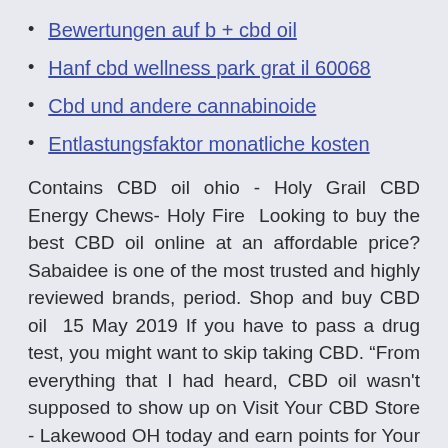Bewertungen auf b + cbd oil
Hanf cbd wellness park grat il 60068
Cbd und andere cannabinoide
Entlastungsfaktor monatliche kosten
Contains CBD oil ohio - Holy Grail CBD Energy Chews- Holy Fire  Looking to buy the best CBD oil online at an affordable price? Sabaidee is one of the most trusted and highly reviewed brands, period. Shop and buy CBD oil  15 May 2019 If you have to pass a drug test, you might want to skip taking CBD. “From everything that I had heard, CBD oil wasn't supposed to show up on Visit Your CBD Store - Lakewood OH today and earn points for Your CBD We believe the customer should see our products journey from soil to oil and at the